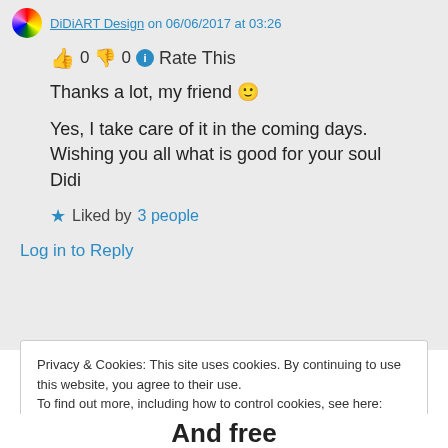DiDiART Design on 06/06/2017 at 03:26
👍 0 👎 0 ℹ Rate This
Thanks a lot, my friend 🙂
Yes, I take care of it in the coming days.
Wishing you all what is good for your soul
Didi
★ Liked by 3 people
Log in to Reply
Privacy & Cookies: This site uses cookies. By continuing to use this website, you agree to their use.
To find out more, including how to control cookies, see here: Cookie Policy
Close and accept
And free